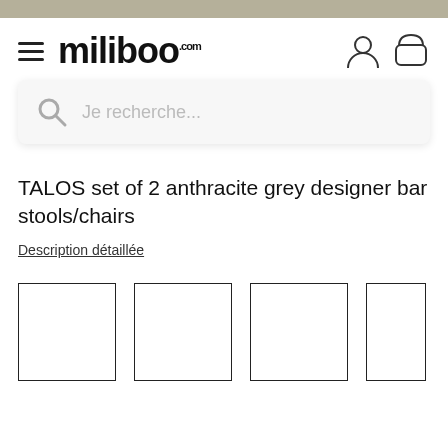miliboo.com
Je recherche...
TALOS set of 2 anthracite grey designer bar stools/chairs
Description détaillée
[Figure (photo): Four thumbnail image placeholders showing product images (empty boxes)]